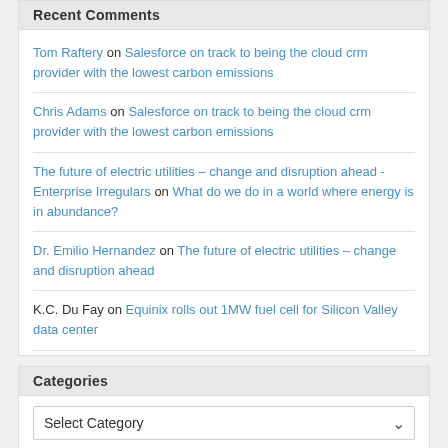Recent Comments
Tom Raftery on Salesforce on track to being the cloud crm provider with the lowest carbon emissions
Chris Adams on Salesforce on track to being the cloud crm provider with the lowest carbon emissions
The future of electric utilities – change and disruption ahead - Enterprise Irregulars on What do we do in a world where energy is in abundance?
Dr. Emilio Hernandez on The future of electric utilities – change and disruption ahead
K.C. Du Fay on Equinix rolls out 1MW fuel cell for Silicon Valley data center
Categories
Select Category